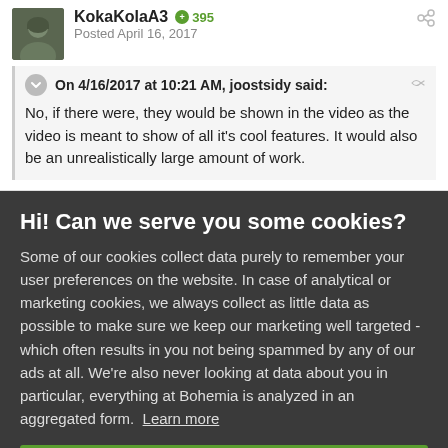KokaKolaA3  395  Posted April 16, 2017
On 4/16/2017 at 10:21 AM, joostsidy said: No, if there were, they would be shown in the video as the video is meant to show of all it's cool features. It would also be an unrealistically large amount of work.
Hi! Can we serve you some cookies?
Some of our cookies collect data purely to remember your user preferences on the website. In case of analytical or marketing cookies, we always collect as little data as possible to make sure we keep our marketing well targeted - which often results in you not being spammed by any of our ads at all. We're also never looking at data about you in particular, everything at Bohemia is analyzed in an aggregated form. Learn more
Allow all cookies
I want more options